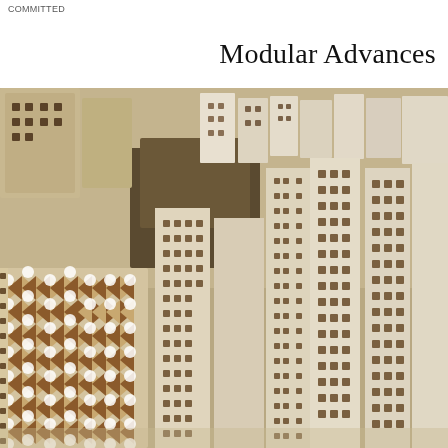COMMITTED
Modular Advances
[Figure (photo): Aerial view architectural model showing modular building blocks — a dense arrangement of white cubic building units with flat roofs and small windows, interspersed with a decorative triangular patterned structure in the lower-left area rendered in beige and brown tones, suggesting a Middle Eastern or Islamic architectural urban planning model.]